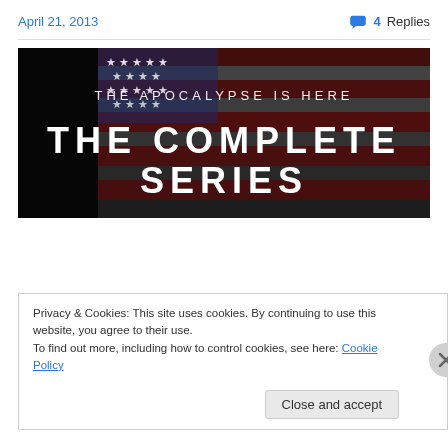April 21, 2013
4 Replies
[Figure (photo): Dark promotional image with an American flag in the background. Text reads 'THE APOCALYPSE IS HERE' above large bold text 'THE COMPLETE SERIES']
Privacy & Cookies: This site uses cookies. By continuing to use this website, you agree to their use.
To find out more, including how to control cookies, see here: Cookie Policy
Close and accept